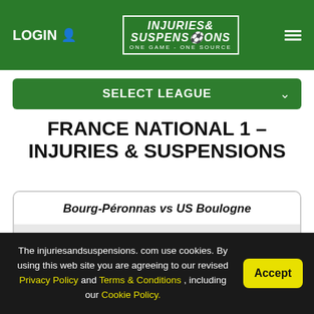LOGIN | INJURIES & SUSPENSIONS — ONE GAME - ONE SOURCE
SELECT LEAGUE
FRANCE NATIONAL 1 – INJURIES & SUSPENSIONS
| Match | Team |
| --- | --- |
| Bourg-Péronnas vs US Boulogne | Bourg-Péronnas |
The injuriesandsuspensions.com use cookies. By using this web site you are agreeing to our revised Privacy Policy and Terms & Conditions , including our Cookie Policy.